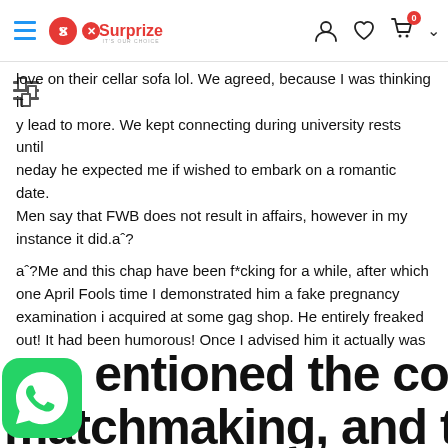Surprize
love on their cellar sofa lol. We agreed, because I was thinking it y lead to more. We kept connecting during university rests until neday he expected me if wished to embark on a romantic date. Men say that FWB does not result in affairs, however in my instance it did.aˆ?
aˆ?Me and this chap have been f*cking for a while, after which one April Fools time I demonstrated him a fake pregnancy examination i acquired at some gag shop. He entirely freaked out! It had been humorous! Once I advised him it actually was merely bull crap, he had been pissed off for a moment however started chuckling as well. He then ended up being like, aˆ?Ya that has been a tale, but iʼdn't mind investing even more times along with you though…ʼ We wound up matchmaking for three ages.aˆ?
entioned the concept of matchmaking, and then he